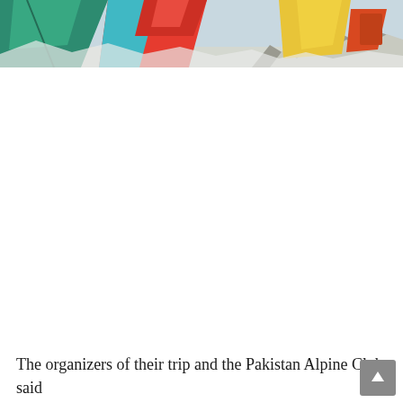[Figure (photo): A base camp scene with colorful tents (teal, red/multicolor, yellow) in a snowy, rocky mountainous environment. The bottom-right shows rocky and snowy terrain.]
The organizers of their trip and the Pakistan Alpine Club said